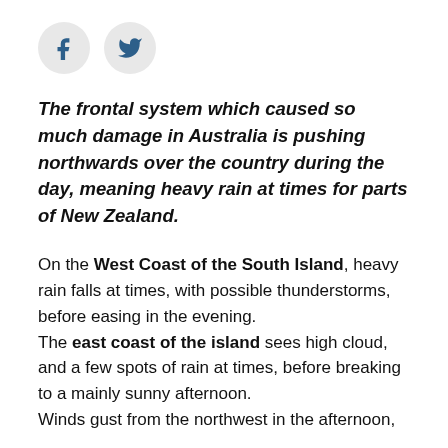[Figure (other): Social media share icons: Facebook (f) and Twitter (bird) as circular gray buttons]
The frontal system which caused so much damage in Australia is pushing northwards over the country during the day, meaning heavy rain at times for parts of New Zealand.
On the West Coast of the South Island, heavy rain falls at times, with possible thunderstorms, before easing in the evening.
The east coast of the island sees high cloud, and a few spots of rain at times, before breaking to a mainly sunny afternoon.
Winds gust from the northwest in the afternoon,